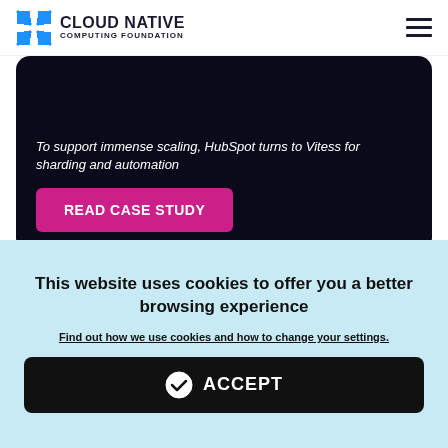CLOUD NATIVE COMPUTING FOUNDATION
To support immense scaling, HubSpot turns to Vitess for sharding and automation
READ CASE STUDY
[Figure (screenshot): Partially visible dark card with heading text, part of a second article card below]
This website uses cookies to offer you a better browsing experience
Find out how we use cookies and how to change your settings.
ACCEPT